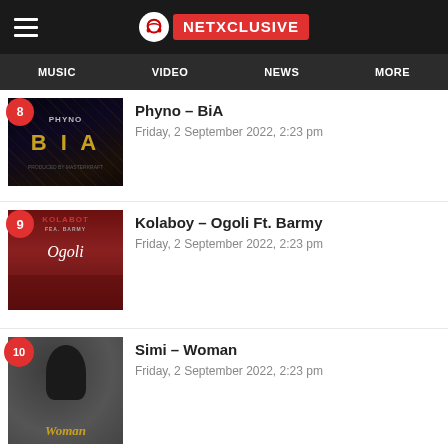NETXCLUSIVE
MUSIC  VIDEO  NEWS  MORE
8 – Phyno – BiA – Friday, 2 September 2022, 2:23 pm
9 – Kolaboy – Ogoli Ft. Barmy – Friday, 2 September 2022, 2:23 pm
10 – Simi – Woman – Friday, 2 September 2022, 2:23 pm